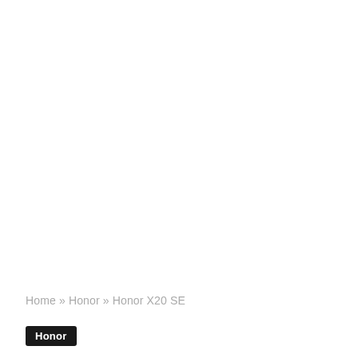[Figure (other): Scroll-to-top button with upward chevron arrow on grey rounded rectangle background, positioned at right edge]
Home » Honor » Honor X20 SE
Honor